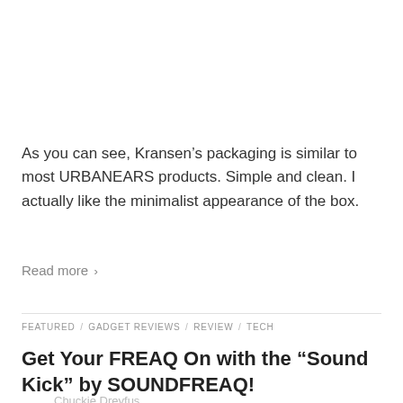As you can see, Kransen’s packaging is similar to most URBANEARS products. Simple and clean. I actually like the minimalist appearance of the box.
Read more ›
FEATURED / GADGET REVIEWS / REVIEW / TECH
Get Your FREAQ On with the “Sound Kick” by SOUNDFREAQ!
Chuckie Dreyfus